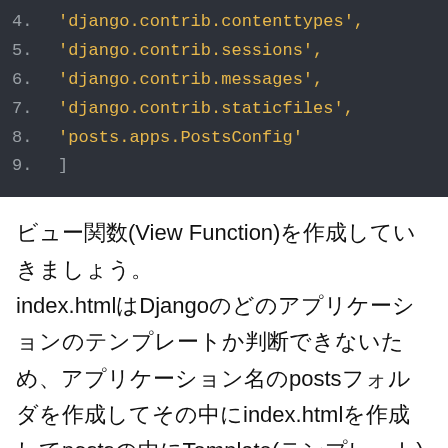[Figure (screenshot): Code block showing Django INSTALLED_APPS list lines 4-9 with yellow text on dark background]
ビュー関数(View Function)を作成していきましょう。index.htmlはDjangoのどのアプリケーションのテンプレートか判断できないため、アプリケーション名のpostsフォルダを作成してその中にindex.htmlを作成してpostsの中にTemplate(テンプレート)を